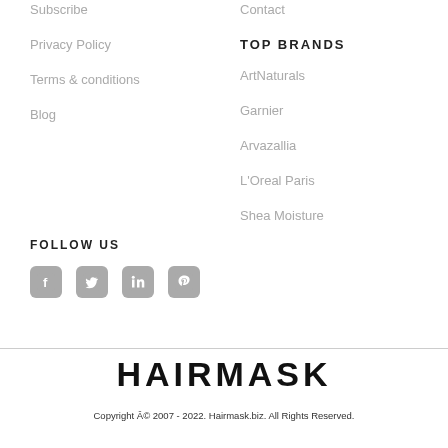Subscribe
Privacy Policy
Terms & conditions
Blog
Contact
TOP BRANDS
ArtNaturals
Garnier
Arvazallia
L'Oreal Paris
Shea Moisture
FOLLOW US
[Figure (other): Social media icons: Facebook, Twitter, LinkedIn, Pinterest]
HAIRMASK
Copyright Â© 2007 - 2022. Hairmask.biz. All Rights Reserved.